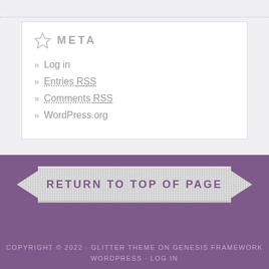META
Log in
Entries RSS
Comments RSS
WordPress.org
RETURN TO TOP OF PAGE
COPYRIGHT © 2022 · GLITTER THEME ON GENESIS FRAMEWORK · WORDPRESS · LOG IN